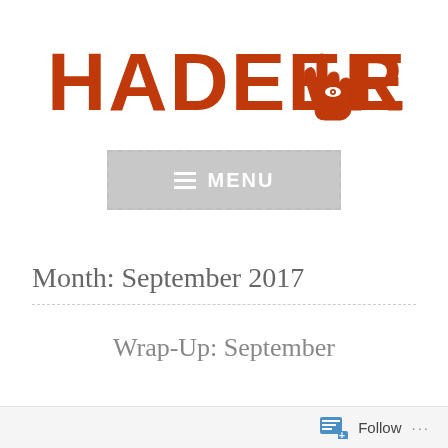[Figure (logo): Hadeer Elsbai logo in bold orange uppercase letters with a hand/eye symbol between 'Hadeer' and 'Elsbai']
[Figure (screenshot): Navigation menu button with dashed border, gray background, hamburger icon and MENU text in white]
Month: September 2017
Wrap-Up: September
Follow ...